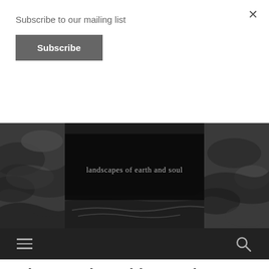Subscribe to our mailing list
Subscribe
[Figure (photo): Black and white landscape photo of rocky terrain with water, with a dark center panel overlay reading 'landscapes of earth and soul']
Give Me That Old Growth